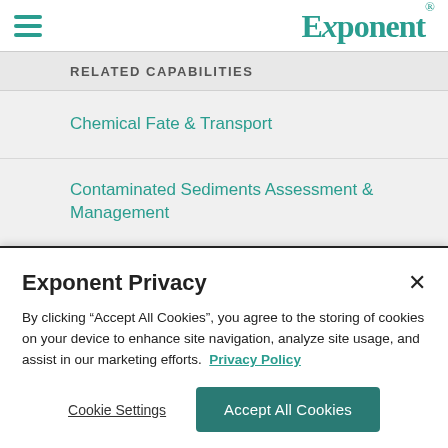Exponent® (logo with hamburger menu)
RELATED CAPABILITIES
Chemical Fate & Transport
Contaminated Sediments Assessment & Management
Exponent Privacy
By clicking "Accept All Cookies", you agree to the storing of cookies on your device to enhance site navigation, analyze site usage, and assist in our marketing efforts.  Privacy Policy
Cookie Settings | Accept All Cookies